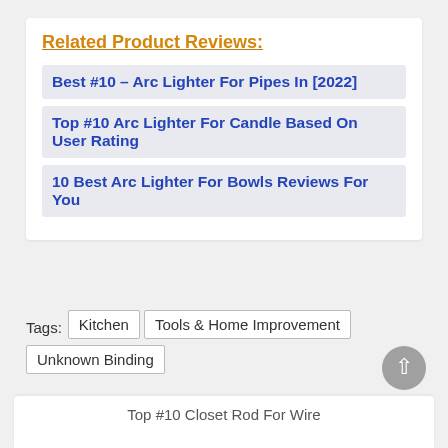Related Product Reviews:
Best #10 - Arc Lighter For Pipes In [2022]
Top #10 Arc Lighter For Candle Based On User Rating
10 Best Arc Lighter For Bowls Reviews For You
Tags: Kitchen | Tools & Home Improvement | Unknown Binding
Top #10 Closet Rod For Wire